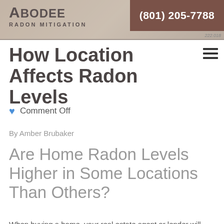Abodee Radon Mitigation | (801) 205-7788
How Location Affects Radon Levels
Comment Off
By Amber Brubaker
Are Home Radon Levels Higher in Some Locations Than Others?
When buying a home, your real estate agent or lender will likely bring up the topic of testing your home for radon.